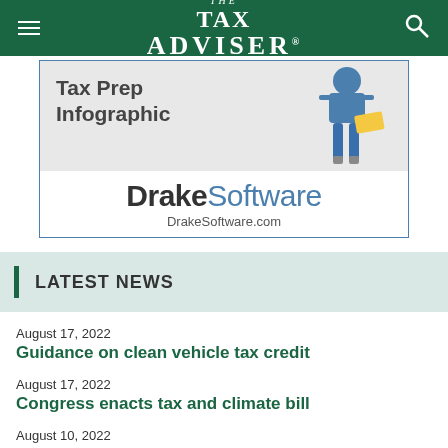THE TAX ADVISER
[Figure (infographic): Drake Software advertisement featuring Tax Prep Infographic text, an illustration of a person sitting, the Drake Software logo, and DrakeSoftware.com URL]
LATEST NEWS
August 17, 2022
Guidance on clean vehicle tax credit
August 17, 2022
Congress enacts tax and climate bill
August 10, 2022